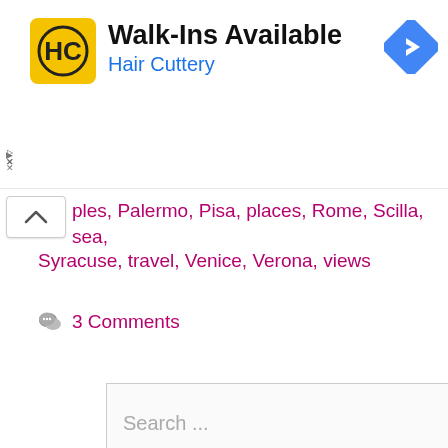[Figure (screenshot): Hair Cuttery advertisement banner with yellow HC logo, 'Walk-Ins Available' title, 'Hair Cuttery' subtitle in blue, and a blue navigation arrow icon on the right]
ples, Palermo, Pisa, places, Rome, Scilla, sea, Syracuse, travel, Venice, Verona, views
3 Comments
[Figure (screenshot): Search bar with placeholder text 'Search ...' and a dark grey search button with magnifying glass icon]